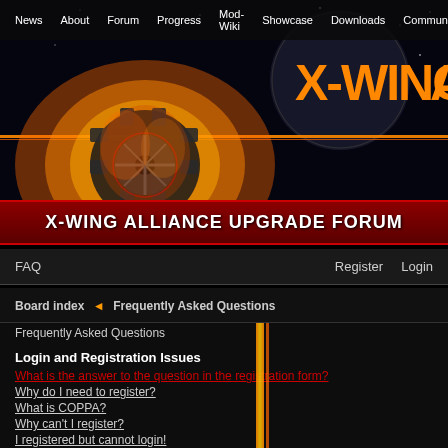News | About | Forum | Progress | Mod-Wiki | Showcase | Downloads | Community
[Figure (illustration): X-Wing Alliance Upgrade Forum header graphic with flaming Imperial logo and orange X-WING AL text on black background]
X-WING ALLIANCE UPGRADE FORUM
FAQ    Register    Login
Board index » Frequently Asked Questions
Frequently Asked Questions
Login and Registration Issues
What is the answer to the question in the registration form?
Why do I need to register?
What is COPPA?
Why can't I register?
I registered but cannot login!
Why can't I login?
I registered in the past but cannot login any more?!